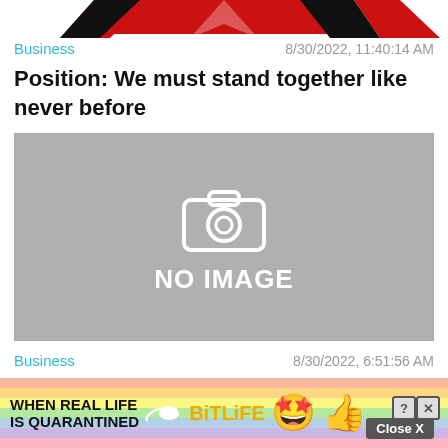[Figure (illustration): Top partial logo/graphic strip with red and black design elements on white background]
Business   8/30/2022, 11:40:14 AM
Position: We must stand together like never before
[Figure (photo): Gray placeholder image with camera icon and text NO IMAGE]
Business   8/30/2022, 6:51:56 AM
The taste is "one thousand dishes are the same", and the "preservation" of pre-m... dishes...
Close X
[Figure (illustration): BitLife advertisement banner with rainbow background, text WHEN REAL LIFE IS QUARANTINED, BitLife logo, star emoji, and thumbs up emoji]